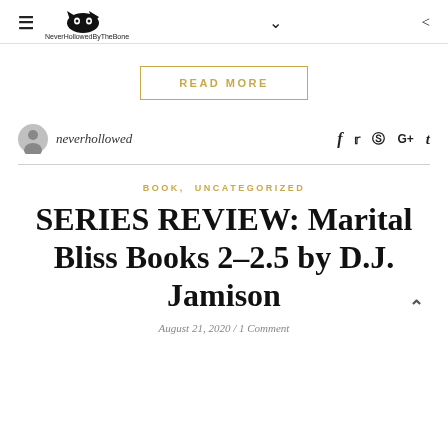≡  NeverHollowedByTheBone  ∨  <
READ MORE
neverhollowed   f  t  ®  G+  t
BOOK, UNCATEGORIZED
SERIES REVIEW: Marital Bliss Books 2–2.5 by D.J. Jamison
August 21, 2020 / 1 Comment